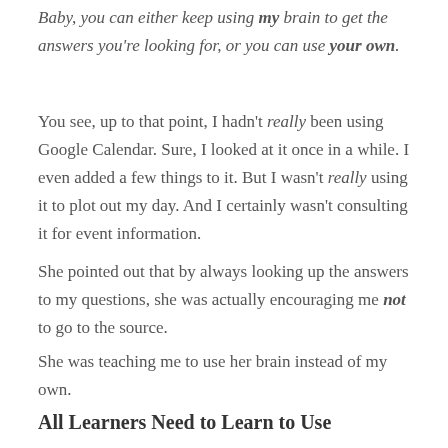Baby, you can either keep using my brain to get the answers you're looking for, or you can use your own.
You see, up to that point, I hadn't really been using Google Calendar. Sure, I looked at it once in a while. I even added a few things to it. But I wasn't really using it to plot out my day. And I certainly wasn't consulting it for event information.
She pointed out that by always looking up the answers to my questions, she was actually encouraging me not to go to the source.
She was teaching me to use her brain instead of my own.
All Learners Need to Learn to Use